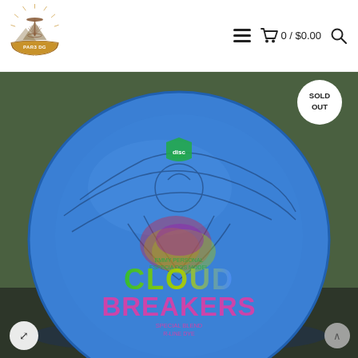[Figure (logo): PAR3 DG disc golf store logo — a disc golf basket with rays and mountains, brown/gold tones]
≡  🛒 0 / $0.00  🔍
[Figure (photo): Blue disc golf disc (Disc Wings Cloud Breakers Special Blend) laid on a dark surface with grass background. The disc is bright blue with a colorful foil stamp showing an eagle and the text 'CLOUD BREAKERS SPECIAL BLEND'. A 'SOLD OUT' badge appears in the top right corner.]